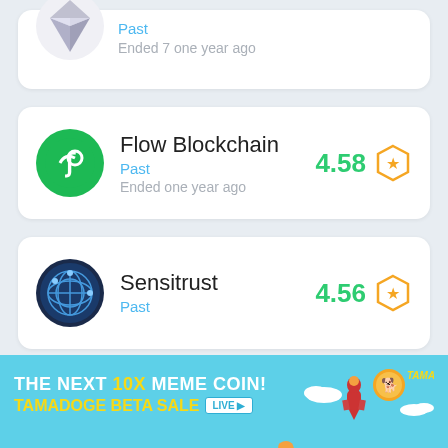[Figure (screenshot): Partial top card showing Ethereum-like logo with 'Past' status and 'Ended 7 one year ago' text]
Past
Ended 7 one year ago
[Figure (logo): Flow Blockchain green circular logo with stylized F/infinity symbol]
Flow Blockchain
4.58
Past
Ended one year ago
[Figure (logo): Sensitrust blue globe network logo]
Sensitrust
4.56
Past
[Figure (infographic): Tamadoge advertisement banner: 'THE NEXT 10X MEME COIN! TAMADOGE BETA SALE LIVE' with rocket and shiba inu characters on sky blue background]
THE NEXT 10X MEME COIN! TAMADOGE BETA SALE LIVE
THE NEXT 10X MEME COIN! TAMADOGE BETA SALE LIVE